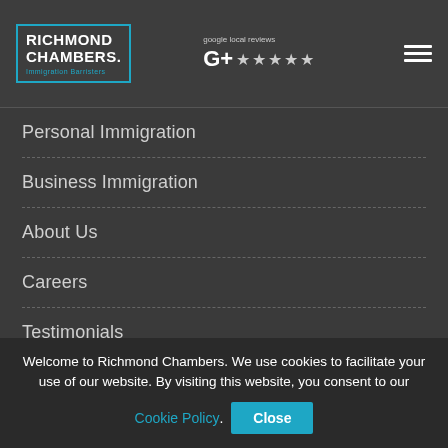RICHMOND CHAMBERS. Immigration Barristers | Google local reviews ★★★★★
Personal Immigration
Business Immigration
About Us
Careers
Testimonials
Knowledge Centre
Contact
Welcome to Richmond Chambers. We use cookies to facilitate your use of our website. By visiting this website, you consent to our Cookie Policy. Close